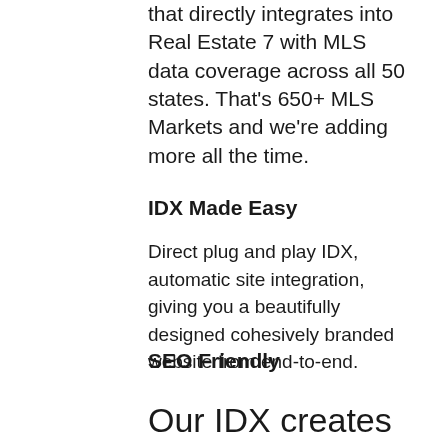that directly integrates into Real Estate 7 with MLS data coverage across all 50 states. That's 650+ MLS Markets and we're adding more all the time.
IDX Made Easy
Direct plug and play IDX, automatic site integration, giving you a beautifully designed cohesively branded website from end-to-end.
SEO Friendly
Our IDX creates dynamic